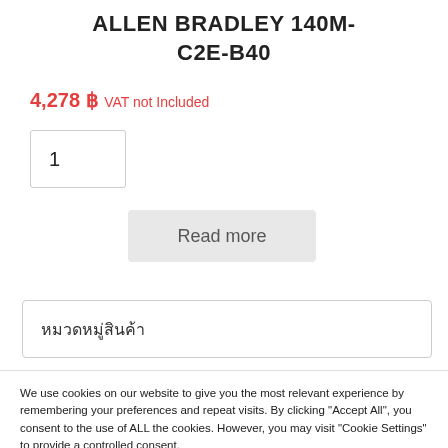ALLEN BRADLEY 140M-C2E-B40
4,278 ฿ VAT not Included
1
Read more
หมวดหมู่สินค้า
We use cookies on our website to give you the most relevant experience by remembering your preferences and repeat visits. By clicking "Accept All", you consent to the use of ALL the cookies. However, you may visit "Cookie Settings" to provide a controlled consent.
Cookie Settings | PDPA Policy | Accept All